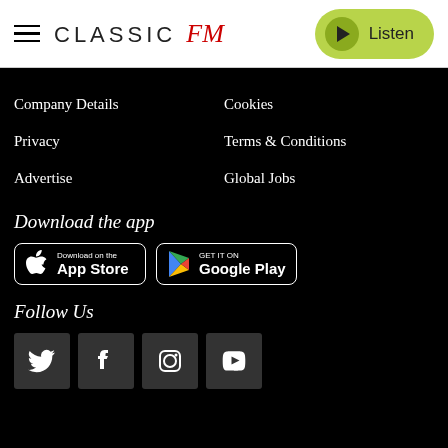[Figure (logo): Classic FM logo with hamburger menu icon on left and Listen button on right]
Company Details
Cookies
Privacy
Terms & Conditions
Advertise
Global Jobs
Download the app
[Figure (screenshot): App Store and Google Play download buttons]
Follow Us
[Figure (infographic): Social media icons: Twitter, Facebook, Instagram, YouTube]